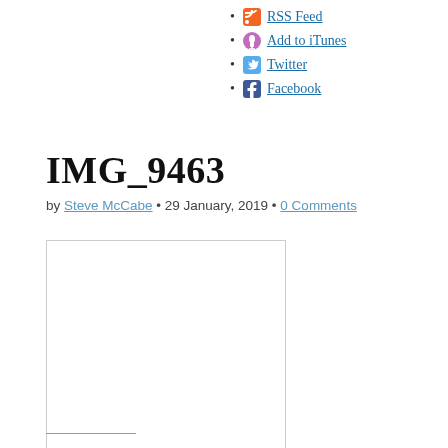RSS Feed
Add to iTunes
Twitter
Facebook
IMG_9463
by Steve McCabe • 29 January, 2019 • 0 Comments
[Figure (photo): Empty white image placeholder with light grey border]